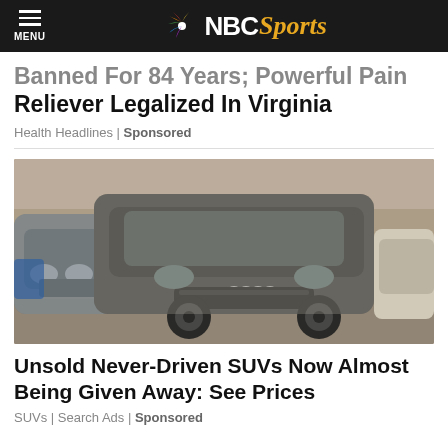MENU | NBC Sports
Banned For 84 Years; Powerful Pain Reliever Legalized In Virginia
Health Headlines | Sponsored
[Figure (photo): Multiple dusty/snow-covered SUVs parked in a row in an enclosed space, including a black Audi Q7 in the center and a BMW X5 to the left.]
Unsold Never-Driven SUVs Now Almost Being Given Away: See Prices
SUVs | Search Ads | Sponsored